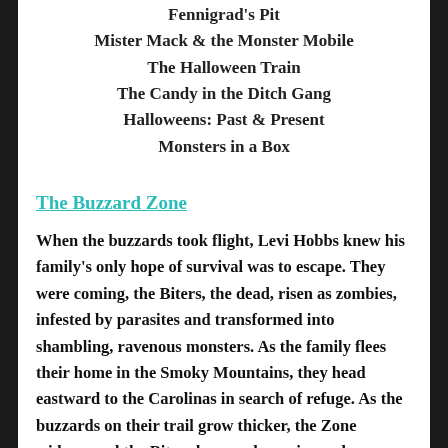Fennigrad's Pit
Mister Mack & the Monster Mobile
The Halloween Train
The Candy in the Ditch Gang
Halloweens: Past & Present
Monsters in a Box
The Buzzard Zone
When the buzzards took flight, Levi Hobbs knew his family's only hope of survival was to escape. They were coming, the Biters, the dead, risen as zombies, infested by parasites and transformed into shambling, ravenous monsters. As the family flees their home in the Smoky Mountains, they head eastward to the Carolinas in search of refuge. As the buzzards on their trail grow thicker, the Zone widens, and the Biters become hungrier and more hostile. The Hobbs family